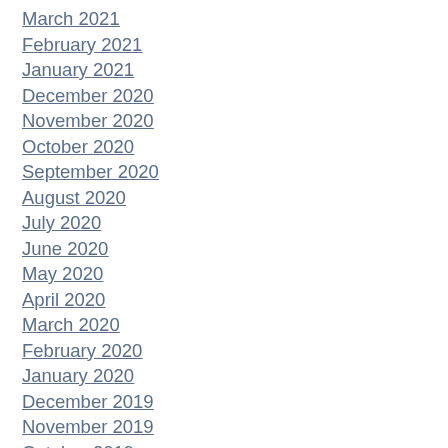March 2021
February 2021
January 2021
December 2020
November 2020
October 2020
September 2020
August 2020
July 2020
June 2020
May 2020
April 2020
March 2020
February 2020
January 2020
December 2019
November 2019
October 2019
August 2019